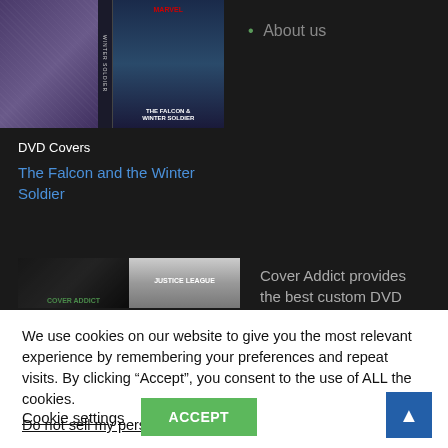[Figure (screenshot): Screenshot of a DVD covers website showing dark background with movie cover images including The Falcon and the Winter Soldier and Justice League]
About us
DVD Covers
The Falcon and the Winter Soldier
Cover Addict provides the best custom DVD
We use cookies on our website to give you the most relevant experience by remembering your preferences and repeat visits. By clicking “Accept”, you consent to the use of ALL the cookies.
Do not sell my personal information.
Cookie settings
ACCEPT